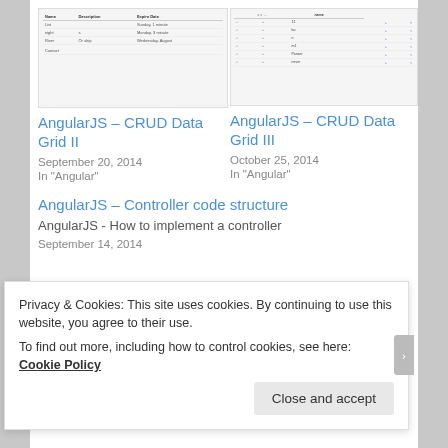[Figure (screenshot): Thumbnail screenshot of AngularJS CRUD Data Grid II showing a table with Name, Description, Expire Date columns]
AngularJS – CRUD Data Grid II
September 20, 2014
In "Angular"
[Figure (screenshot): Thumbnail screenshot of AngularJS CRUD Data Grid III showing a data grid with rows and + buttons]
AngularJS – CRUD Data Grid III
October 25, 2014
In "Angular"
AngularJS – Controller code structure
AngularJS - How to implement a controller
September 14, 2014
Privacy & Cookies: This site uses cookies. By continuing to use this website, you agree to their use.
To find out more, including how to control cookies, see here: Cookie Policy
Close and accept